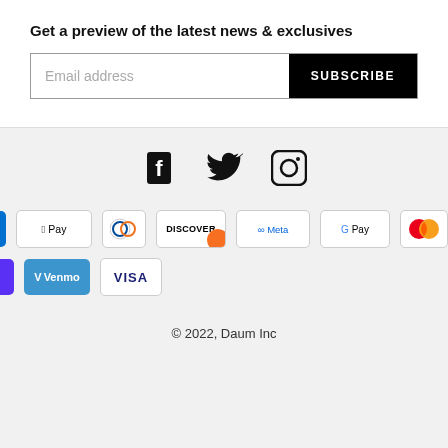Get a preview of the latest news & exclusives
Email address  SUBSCRIBE
[Figure (infographic): Social media icons: Facebook, Twitter, Instagram]
[Figure (infographic): Payment method icons: Amex, Apple Pay, Diners Club, Discover, Meta Pay, Google Pay, Mastercard, PayPal, Shop Pay, Venmo, Visa]
© 2022, Daum Inc